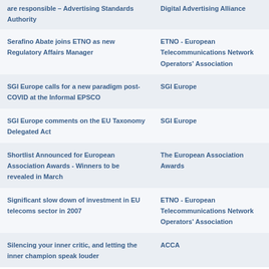| Article/Title | Source/Organization |
| --- | --- |
| are responsible – Advertising Standards Authority | Digital Advertising Alliance |
| Serafino Abate joins ETNO as new Regulatory Affairs Manager | ETNO - European Telecommunications Network Operators' Association |
| SGI Europe calls for a new paradigm post-COVID at the Informal EPSCO | SGI Europe |
| SGI Europe comments on the EU Taxonomy Delegated Act | SGI Europe |
| Shortlist Announced for European Association Awards - Winners to be revealed in March | The European Association Awards |
| Significant slow down of investment in EU telecoms sector in 2007 | ETNO - European Telecommunications Network Operators' Association |
| Silencing your inner critic, and letting the inner champion speak louder | ACCA |